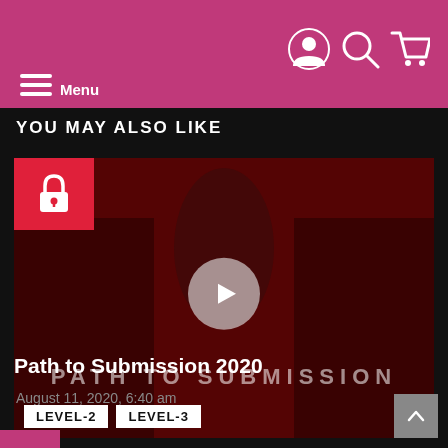Menu
YOU MAY ALSO LIKE
[Figure (screenshot): Video thumbnail for 'Path to Submission 2020' showing a dark red tinted image with play button overlay, lock icon badge in top-left, 'PATH TO SUBMISSION' watermark text, and LEVEL-2 / LEVEL-3 badges at bottom]
Path to Submission 2020
August 11, 2020, 6:40 am